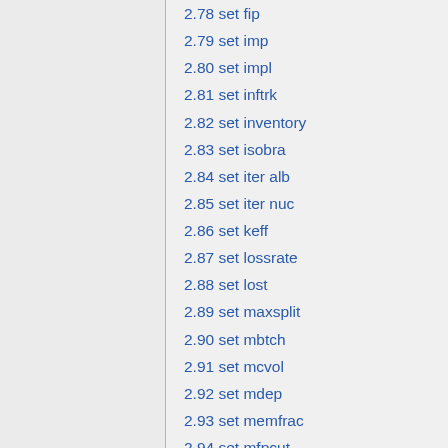2.78 set fip
2.79 set imp
2.80 set impl
2.81 set inftrk
2.82 set inventory
2.83 set isobra
2.84 set iter alb
2.85 set iter nuc
2.86 set keff
2.87 set lossrate
2.88 set lost
2.89 set maxsplit
2.90 set mbtch
2.91 set mcvol
2.92 set mdep
2.93 set memfrac
2.94 set mfpcut
2.95 set mfpcutdens
2.96 set mfpcutmat
2.97 set micro